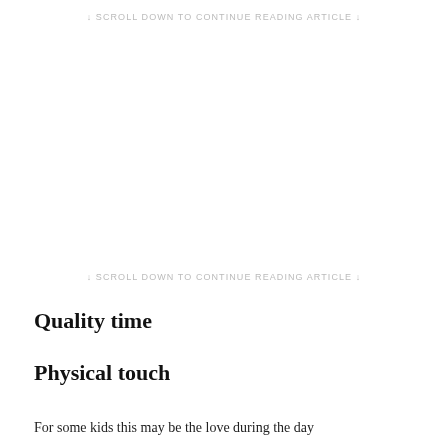↓ SCROLL DOWN TO CONTINUE READING ARTICLE ↓
↓ SCROLL DOWN TO CONTINUE READING ARTICLE ↓
Quality time
Physical touch
For some kids this may be the love during the day